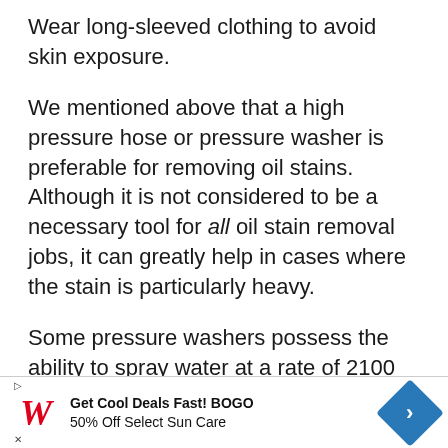Wear long-sleeved clothing to avoid skin exposure.
We mentioned above that a high pressure hose or pressure washer is preferable for removing oil stains. Although it is not considered to be a necessary tool for all oil stain removal jobs, it can greatly help in cases where the stain is particularly heavy.
Some pressure washers possess the ability to spray water at a rate of 2100 PSI. This can sometimes be enough force to strip away whatever stain or dirt is on your driveway, and with the aid of a cleaner product, it can
[Figure (other): Advertisement banner for Walgreens: Get Cool Deals Fast! BOGO 50% Off Select Sun Care]